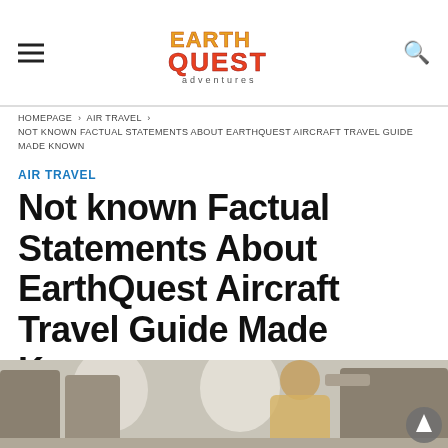EarthQuest Adventures — site header with hamburger menu and search icon
HOMEPAGE › AIR TRAVEL › NOT KNOWN FACTUAL STATEMENTS ABOUT EARTHQUEST AIRCRAFT TRAVEL GUIDE MADE KNOWN
AIR TRAVEL
Not known Factual Statements About EarthQuest Aircraft Travel Guide Made Known
[Figure (photo): Interior of an airplane cabin showing passenger seats and a person seated, viewed from the aisle]